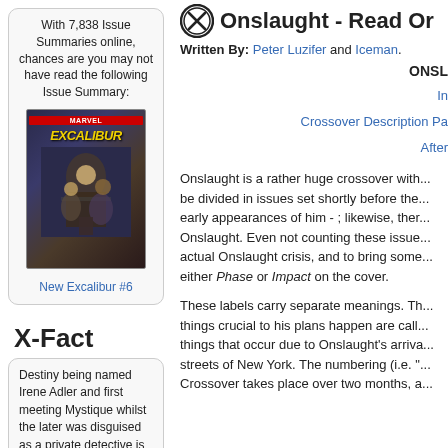With 7,838 Issue Summaries online, chances are you may not have read the following Issue Summary:
[Figure (illustration): Comic book cover of New Excalibur #6 showing Marvel heroes]
New Excalibur #6
X-Fact
Destiny being named Irene Adler and first meeting Mystique whilst the later was disguised as a private detective is a nod to "A Scandal in Bohemia" by Arthue Conan Doyle.
Onslaught - Read Or...
Written By: Peter Luzifer and Iceman.
ONSL
In...
Crossover Description Pa...
After...
Onslaught is a rather huge crossover with... be divided in issues set shortly before the... early appearances of him - ; likewise, there... Onslaught. Even not counting these issues... actual Onslaught crisis, and to bring some... either Phase or Impact on the cover.
These labels carry separate meanings. Th... things crucial to his plans happen are call... things that occur due to Onslaught's arriva... streets of New York. The numbering (i.e. "... Crossover takes place over two months, a...